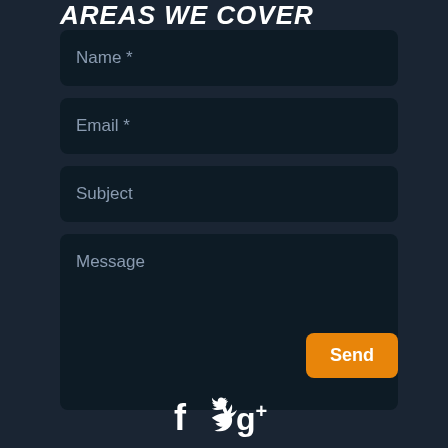Areas We Cover
Name *
Email *
Subject
Message
Send
[Figure (infographic): Social media icons: Facebook (f), Twitter (bird), Google+ (g+)]